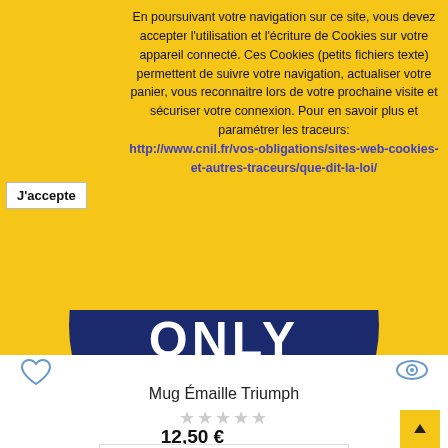En poursuivant votre navigation sur ce site, vous devez accepter l'utilisation et l'écriture de Cookies sur votre appareil connecté. Ces Cookies (petits fichiers texte) permettent de suivre votre navigation, actualiser votre panier, vous reconnaitre lors de votre prochaine visite et sécuriser votre connexion. Pour en savoir plus et paramétrer les traceurs: http://www.cnil.fr/vos-obligations/sites-web-cookies-et-autres-traceurs/que-dit-la-loi/
J'accepte
[Figure (photo): Blue enamel mug with 'ONLY' text visible, shown from above on yellow background]
Mug Émaille Triumph
★★★★★ (empty stars rating)
12,50 €
Ajouter au panier